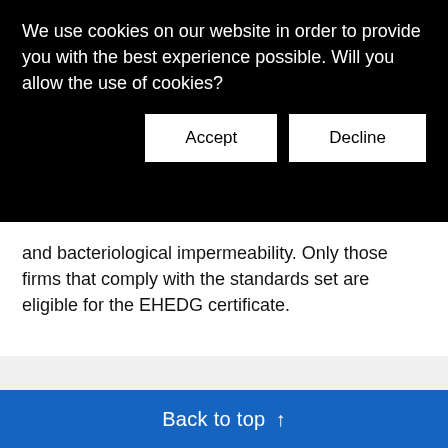We use cookies on our website in order to provide you with the best experience possible. Will you allow the use of cookies?
Accept
Decline
and bacteriological impermeability. Only those firms that comply with the standards set are eligible for the EHEDG certificate.
[Figure (infographic): Four social media share icons: LinkedIn (blue), Twitter (blue), XING (teal), and an email/print icon (gray)]
Back to top ↑